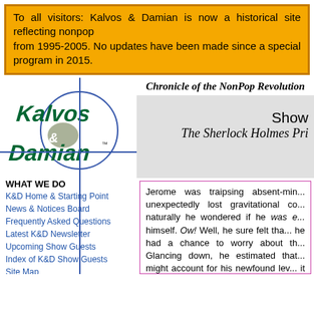To all visitors: Kalvos & Damian is now a historical site reflecting nonpop from 1995-2005. No updates have been made since a special program in 2015.
Chronicle of the NonPop Revolution
[Figure (logo): Kalvos & Damian logo with crosshair circle overlay]
WHAT WE DO
K&D Home & Starting Point
News & Notices Board
Frequently Asked Questions
Latest K&D Newsletter
Upcoming Show Guests
Index of K&D Show Guests
Site Map
Full Site Search
MUSIC & FEATURES
Broadcast Audio Archive
ASCAP Deems Taylor Award
9/11 Musical Gallery
Ought-One Festival 2001
Show ... The Sherlock Holmes Pri...
Jerome was traipsing absent-min... unexpectedly lost gravitational co... naturally he wondered if he was e... himself. Ow! Well, he sure felt tha... he had a chance to worry about th... Glancing down, he estimated that... might account for his newfound lev... it all--until eight solid mahogany d...